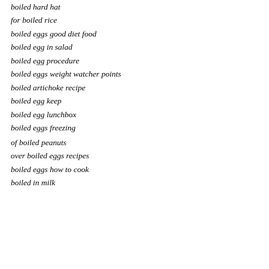boiled hard hat
for boiled rice
boiled eggs good diet food
boiled egg in salad
boiled egg procedure
boiled eggs weight watcher points
boiled artichoke recipe
boiled egg keep
boiled egg lunchbox
boiled eggs freezing
of boiled peanuts
over boiled eggs recipes
boiled eggs how to cook
boiled in milk